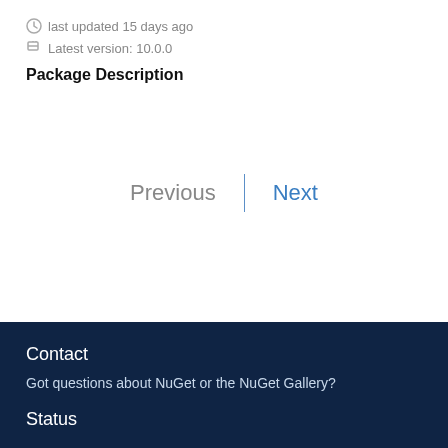last updated 15 days ago
Latest version: 10.0.0
Package Description
Previous | Next
Contact
Got questions about NuGet or the NuGet Gallery?
Status